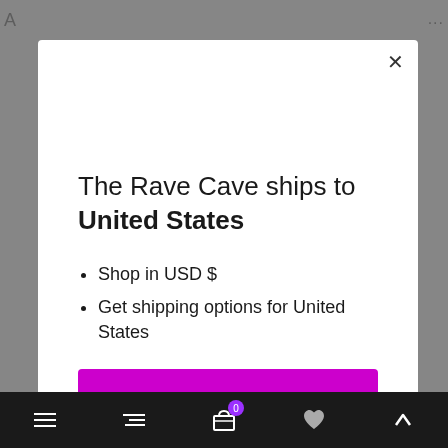[Figure (screenshot): E-commerce modal dialog on The Rave Cave website showing shipping information for United States with a 'Shop now' button and 'Change shipping country' link, displayed over a grayed-out background page with a bottom navigation bar.]
The Rave Cave ships to United States
Shop in USD $
Get shipping options for United States
Shop now
Change shipping country